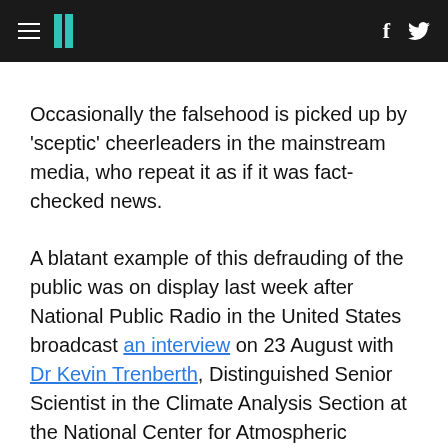HuffPost navigation header with hamburger menu, logo, Facebook and Twitter icons
Occasionally the falsehood is picked up by 'sceptic' cheerleaders in the mainstream media, who repeat it as if it was fact-checked news.
A blatant example of this defrauding of the public was on display last week after National Public Radio in the United States broadcast an interview on 23 August with Dr Kevin Trenberth, Distinguished Senior Scientist in the Climate Analysis Section at the National Center for Atmospheric Research in Boulder, Colorado.